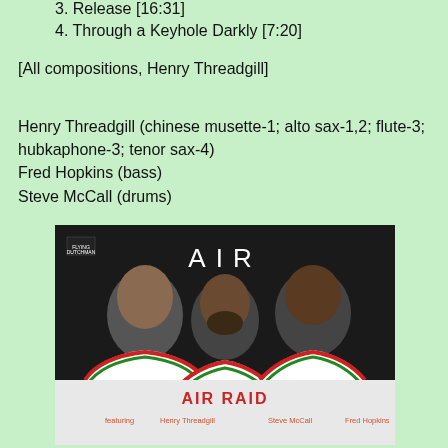3. Release [16:31]
4. Through a Keyhole Darkly [7:20]
[All compositions, Henry Threadgill]
Henry Threadgill (chinese musette-1; alto sax-1,2; flute-3; hubkaphone-3; tenor sax-4)
Fred Hopkins (bass)
Steve McCall (drums)
[Figure (photo): Album cover for AIR RAID featuring Henry Threadgill, Steve McCall, and Fred Hopkins. Three men in white shirts against a dark background with red and green trim. The text reads 'AIR' at the top, 'AIR RAID' in red lettering, and 'featuring Henry Threadgill Steve McCall Fred Hopkins' at the bottom.]